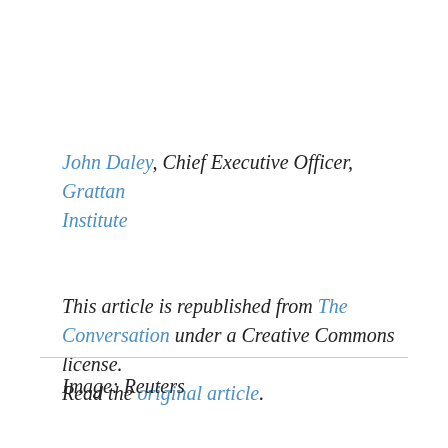John Daley, Chief Executive Officer, Grattan Institute
This article is republished from The Conversation under a Creative Commons license. Read the original article.
Image: Reuters